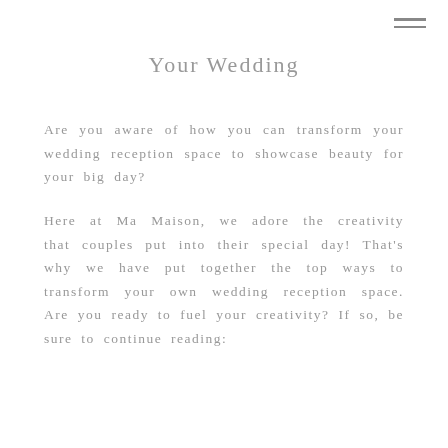[Figure (other): Hamburger menu icon (three horizontal lines) in top right corner]
Your Wedding
Are you aware of how you can transform your wedding reception space to showcase beauty for your big day?
Here at Ma Maison, we adore the creativity that couples put into their special day! That's why we have put together the top ways to transform your own wedding reception space. Are you ready to fuel your creativity? If so, be sure to continue reading: